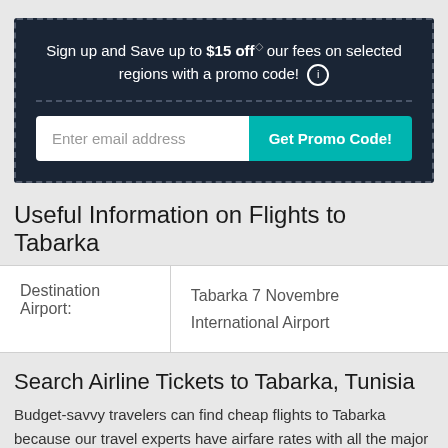Sign up and Save up to $15 off our fees on selected regions with a promo code!
Enter email address | Get Promo Code!
Useful Information on Flights to Tabarka
|  |  |
| --- | --- |
| Destination Airport: | Tabarka 7 Novembre International Airport |
Search Airline Tickets to Tabarka, Tunisia
Budget-savvy travelers can find cheap flights to Tabarka because our travel experts have airfare rates with all the major airlines. Book plane tickets to Tabarka now and save on OneTravel's already cheap airfare with promotional coupon codes and weekly deals! If